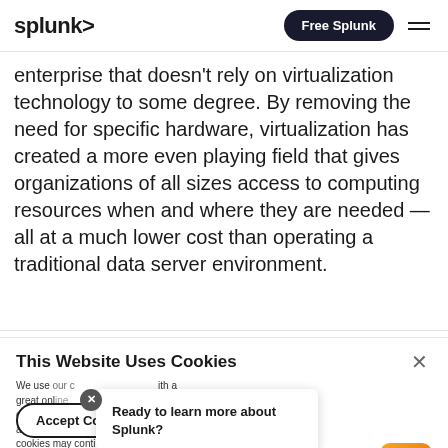splunk> | Free Splunk
enterprise that doesn’t rely on virtualization technology to some degree. By removing the need for specific hardware, virtualization has created a more even playing field that gives organizations of all sizes access to computing resources when and where they are needed — all at a much lower cost than operating a traditional data server environment.
This Website Uses Cookies
We use our cookies to provide you with a great online experience and to help pro our products to you. We use some of our products, preferences and advertising, ons and advertising. Some of our com cookies may continue to collect information after you have left our website. Learn more here ›
Ready to learn more about Splunk?
Accept Cookies   Cookies Settings ›